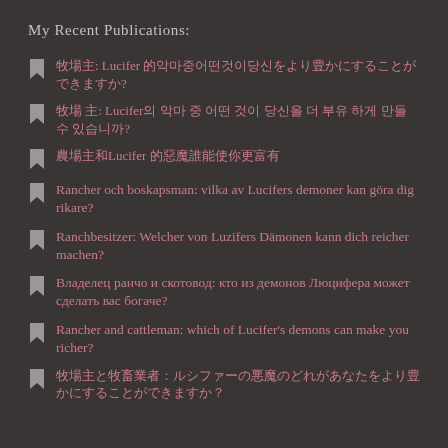My recent publications:
рецепт: Lucifer демонларингизни рекомендациялаймиз?
牧場主: Lucifer의 악마 중 어떤 것이 당신을 더 부유하게 만들 수 있습니까?
農場主和Lucifer 的惡魔誰能
Rancher och boskapsman: vilka av Lucifers demoner kan göra dig rikare?
Ranchbesitzer: Welcher von Luzifers Dämonen kann dich reicher machen?
Владелец ранчо и скотовод: кто из демонов Люцифера может сделать вас богаче?
Rancher and cattleman: which of Lucifer's demons can make you richer?
牧場主と牧畜業者：ルシファーの悪魔のどれがあなたをより豊かにすることができますか？